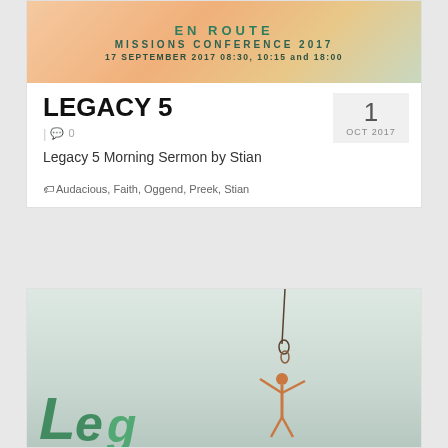[Figure (photo): En Route Missions Conference 2017 banner with warm sunset/nature background. Text reads: EN ROUTE, MISSIONS CONFERENCE 2017, 17 SEPTEMBER 2017 08:30, 10:15 and 18:00]
LEGACY 5
1 OCT 2017
0 comments
Legacy 5 Morning Sermon by Stian
Audacious, Faith, Oggend, Preek, Stian
[Figure (photo): Person with arms raised toward a rope or chain hanging from above, with green stylized text/logo in the foreground on a light grey-green background.]